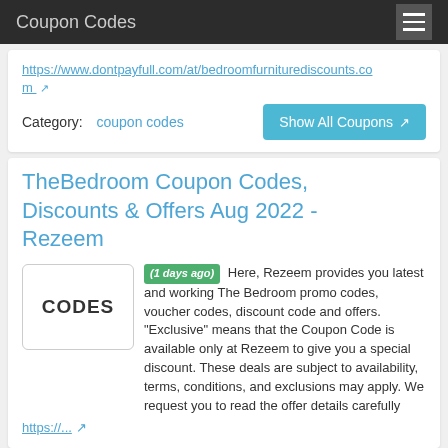Coupon Codes
https://www.dontpayfull.com/at/bedroomfurniturediscounts.com
Category: coupon codes
Show All Coupons
TheBedroom Coupon Codes, Discounts & Offers Aug 2022 - Rezeem
(1 days ago) Here, Rezeem provides you latest and working The Bedroom promo codes, voucher codes, discount code and offers. "Exclusive" means that the Coupon Code is available only at Rezeem to give you a special discount. These deals are subject to availability, terms, conditions, and exclusions may apply. We request you to read the offer details carefully
https://...